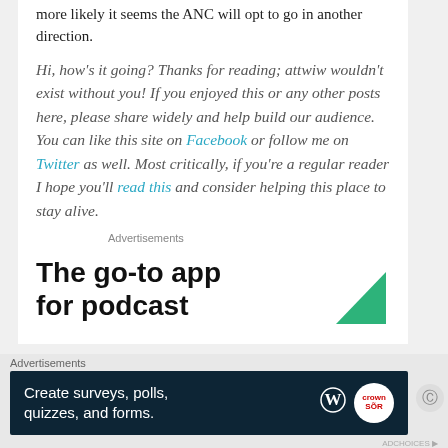more likely it seems the ANC will opt to go in another direction.
Hi, how's it going? Thanks for reading; attwiw wouldn't exist without you! If you enjoyed this or any other posts here, please share widely and help build our audience. You can like this site on Facebook or follow me on Twitter as well. Most critically, if you're a regular reader I hope you'll read this and consider helping this place to stay alive.
Advertisements
[Figure (other): Advertisement banner: 'The go-to app for podcast' with green triangle graphic]
Advertisements
[Figure (other): Dark blue advertisement banner: 'Create surveys, polls, quizzes, and forms.' with WordPress and circular logo icons]